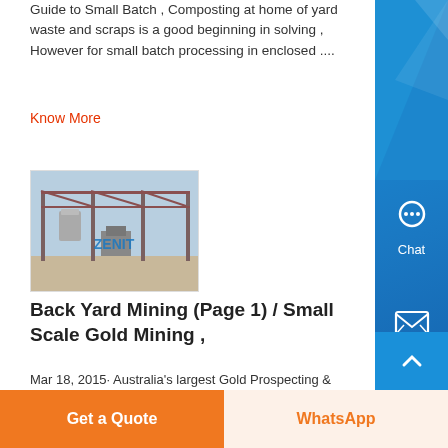Guide to Small Batch , Composting at home of yard waste and scraps is a good beginning in solving , However for small batch processing in enclosed ....
Know More
[Figure (photo): Industrial or mining facility structure with metal framework and a water tank, with ZENIT watermark, outdoor setting with blue sky]
Back Yard Mining (Page 1) / Small Scale Gold Mining ,
Mar 18, 2015· Australia's largest Gold Prospecting & Fossicking Forum Chat about Alluvial Gold Prospecting, , Small Scale Gold Mining: Back Yard Mining:
Get a Quote
WhatsApp